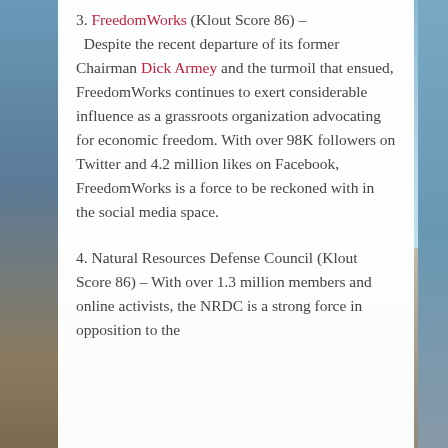3. FreedomWorks (Klout Score 86) – Despite the recent departure of its former Chairman Dick Armey and the turmoil that ensued, FreedomWorks continues to exert considerable influence as a grassroots organization advocating for economic freedom. With over 98K followers on Twitter and 4.2 million likes on Facebook, FreedomWorks is a force to be reckoned with in the social media space.
4. Natural Resources Defense Council (Klout Score 86) – With over 1.3 million members and online activists, the NRDC is a strong force in opposition to the